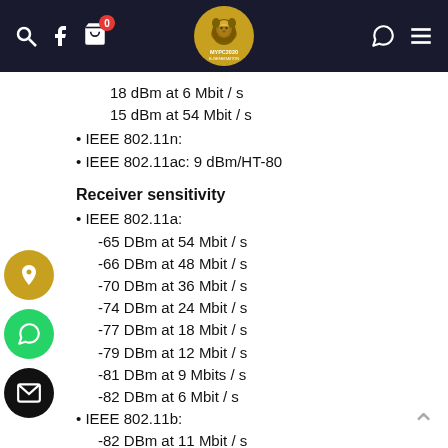MYPC2020 navigation bar with logo, search, facebook, cart, whatsapp, and menu icons
18 dBm at 6 Mbit / s
15 dBm at 54 Mbit / s
IEEE 802.11n:
IEEE 802.11ac: 9 dBm/HT-80
Receiver sensitivity
IEEE 802.11a:
-65 DBm at 54 Mbit / s
-66 DBm at 48 Mbit / s
-70 DBm at 36 Mbit / s
-74 DBm at 24 Mbit / s
-77 DBm at 18 Mbit / s
-79 DBm at 12 Mbit / s
-81 DBm at 9 Mbits / s
-82 DBm at 6 Mbit / s
IEEE 802.11b:
-82 DBm at 11 Mbit / s
-85 DBm at 5.5 Mbit / s